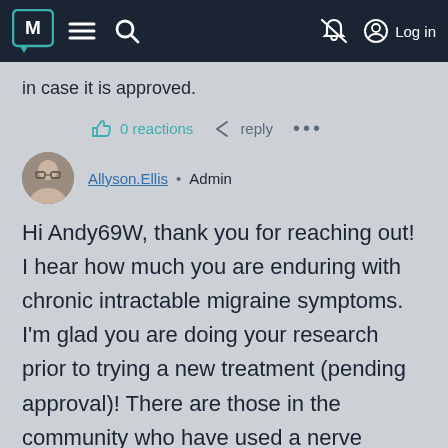M ≡ 🔍 [notification off] Log in
in case it is approved.
0 reactions  ← reply  ...
Allyson.Ellis • Admin
Hi Andy69W, thank you for reaching out! I hear how much you are enduring with chronic intractable migraine symptoms. I'm glad you are doing your research prior to trying a new treatment (pending approval)! There are those in the community who have used a nerve stimulator device as a migraine